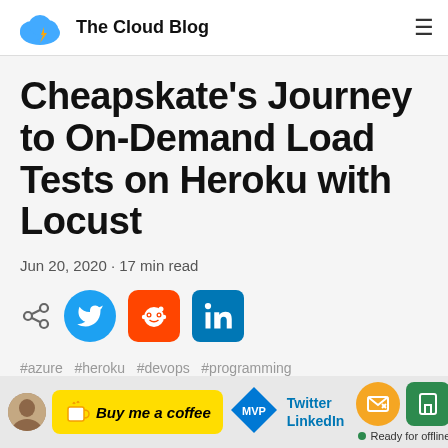The Cloud Blog
Cheapskate’s Journey to On-Demand Load Tests on Heroku with Locust
Jun 20, 2020 · 17 min read
[Figure (infographic): Social sharing icons: share, Twitter, Reddit, LinkedIn]
#azure  #heroku  #devops  #programming
[Figure (infographic): Bottom bar with Buy me a coffee button, MVP diamond logo, avatar, Twitter and LinkedIn links, offline icon, and save button with Ready for offline text]